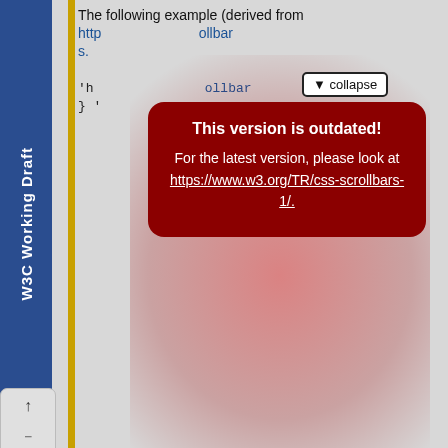W3C Working Draft
The following example (derived from https://... scrollbars.
This version is outdated! For the latest version, please look at https://www.w3.org/TR/css-scrollbars-1/.
§ 3. Scrollbar Thickness: the 'scrollbar-width' property
| Property | Value |
| --- | --- |
| Name: | 'scrollbar-width' |
| Value: | auto | thin | none |
| Initial: | auto |